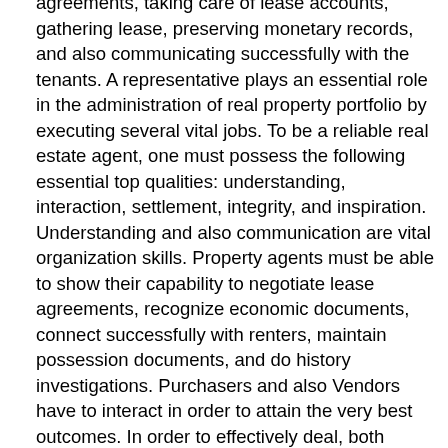agreements, taking care of lease accounts, gathering lease, preserving monetary records, and also communicating successfully with the tenants. A representative plays an essential role in the administration of real property portfolio by executing several vital jobs. To be a reliable real estate agent, one must possess the following essential top qualities: understanding, interaction, settlement, integrity, and inspiration. Understanding and also communication are vital organization skills. Property agents must be able to show their capability to negotiate lease agreements, recognize economic documents, connect successfully with renters, maintain possession documents, and do history investigations. Purchasers and also Vendors have to interact in order to attain the very best outcomes. In order to effectively deal, both parties ought to have the best info as well as negotiating methods. By hiring a certified realty professional, vendors as well as purchasers can obtain experienced suggestions on advertising and marketing approaches that would apply to their particular realty residential property. A property